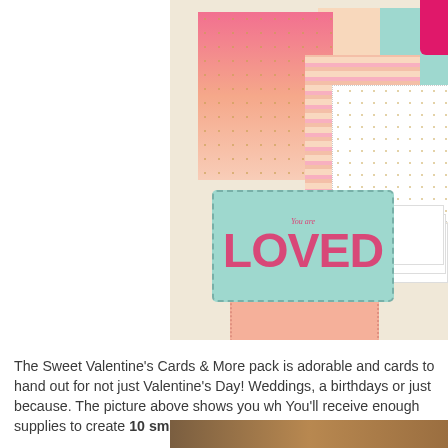[Figure (photo): Photo of Sweet Valentine's Cards & More pack contents spread on a light beige surface. Includes pink ombre paper with gold dots, peach and mint colored cardstock, striped paper in pink/coral/peach, white lace-edged cards, a teal/mint card with 'You are LOVED' in bold pink lettering, a peach scalloped card, and a stack of white blank cards.]
The Sweet Valentine's Cards & More pack is adorable and cards to hand out for not just Valentine's Day! Weddings, a birthdays or just because. The picture above shows you wh You'll receive enough supplies to create 10 small cards.
[Figure (photo): Partial view of another photo at the bottom of the page, showing warm brown/tan tones.]